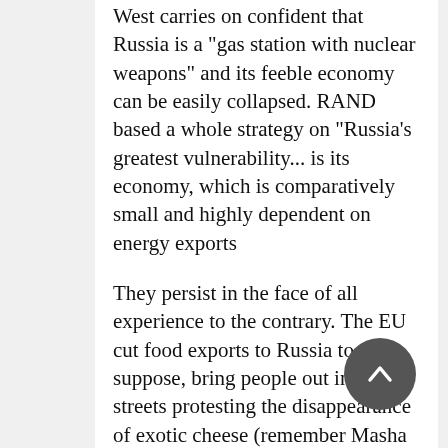West carries on confident that Russia is a "gas station with nuclear weapons" and its feeble economy can be easily collapsed. RAND based a whole strategy on "Russia's greatest vulnerability... is its economy, which is comparatively small and highly dependent on energy exports
They persist in the face of all experience to the contrary. The EU cut food exports to Russia to, I suppose, bring people out into the streets protesting the disappearance of exotic cheese (remember Masha Gessen's heartbreak about my little cheese?) Russia responded intelligently and is now self-sufficient in food and Europe has lost that market. Biden was going to reduce the ruble to rubble but Moscow effortlessly